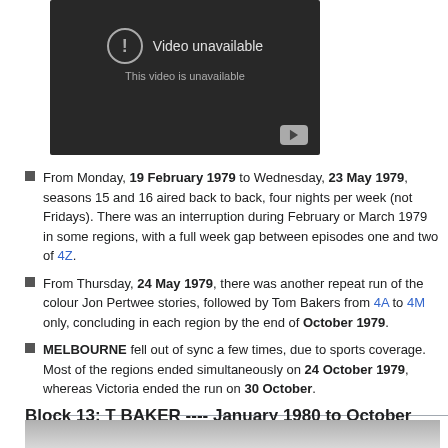[Figure (screenshot): YouTube video unavailable placeholder showing dark background with exclamation icon, 'Video unavailable' text, and YouTube play button]
From Monday, 19 February 1979 to Wednesday, 23 May 1979, seasons 15 and 16 aired back to back, four nights per week (not Fridays). There was an interruption during February or March 1979 in some regions, with a full week gap between episodes one and two of 4Z.
From Thursday, 24 May 1979, there was another repeat run of the colour Jon Pertwee stories, followed by Tom Bakers from 4A to 4M only, concluding in each region by the end of October 1979.
MELBOURNE fell out of sync a few times, due to sports coverage. Most of the regions ended simultaneously on 24 October 1979, whereas Victoria ended the run on 30 October.
Block 13: T BAKER ---- January 1980 to October 1980
[Figure (photo): Partial image at bottom of page, appears to be a photo thumbnail]